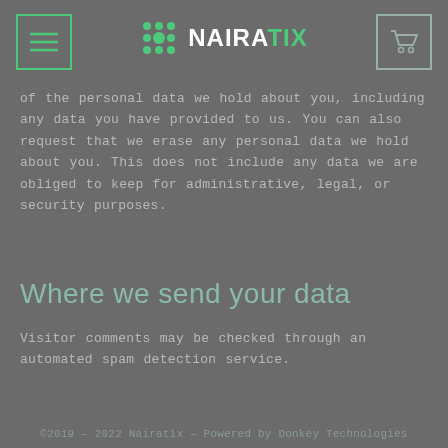NAIRATIX
of the personal data we hold about you, including any data you have provided to us. You can also request that we erase any personal data we hold about you. This does not include any data we are obliged to keep for administrative, legal, or security purposes.
Where we send your data
Visitor comments may be checked through an automated spam detection service.
©2019 – 2022 Nairatix – Powered by Donkey Technologies